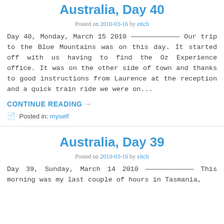Australia, Day 40
Posted on 2010-03-16 by eitch
Day 40, Monday, March 15 2010 ————————————— Our trip to the Blue Mountains was on this day. It started off with us having to find the Oz Experience office. It was on the other side of town and thanks to good instructions from Laurence at the reception and a quick train ride we were on...
CONTINUE READING →
Posted in: myself
Australia, Day 39
Posted on 2010-03-16 by eitch
Day 39, Sunday, March 14 2010 ————————————— This morning was my last couple of hours in Tasmania,